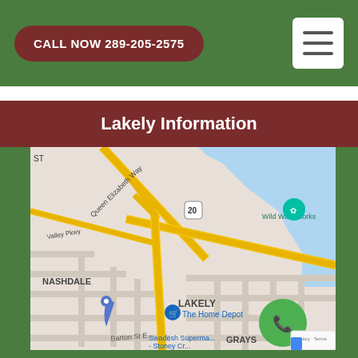CALL NOW 289-205-2575
Lakely Information
[Figure (map): Google Maps screenshot showing the Lakely neighborhood in Stoney Creek area. Shows streets including Queen Elizabeth Way, Valley Pkwy, Barton St E, intersections with Highway 20, landmarks including Wild Waterworks, The Home Depot, Swadesh Supermarket - Stoney Creek, neighborhoods labeled NASHDALE, LAKELY, GRAYS. A floating green phone button and reCAPTCHA badge are visible in the bottom right.]